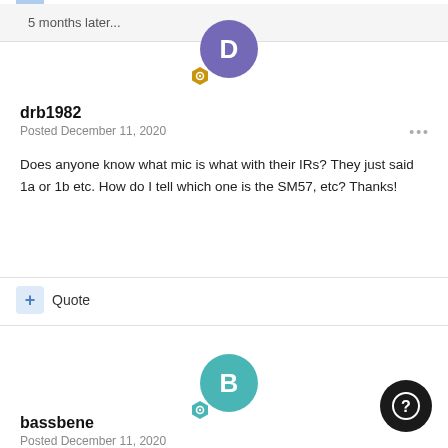5 months later...
drb1982
Posted December 11, 2020
Does anyone know what mic is what with their IRs? They just said 1a or 1b etc. How do I tell which one is the SM57, etc? Thanks!
Quote
bassbene
Posted December 11, 2020